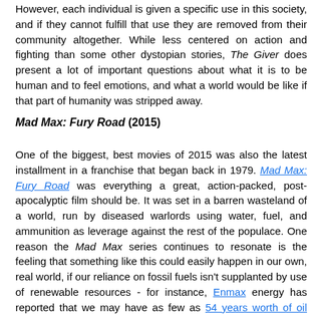However, each individual is given a specific use in this society, and if they cannot fulfill that use they are removed from their community altogether. While less centered on action and fighting than some other dystopian stories, The Giver does present a lot of important questions about what it is to be human and to feel emotions, and what a world would be like if that part of humanity was stripped away.
Mad Max: Fury Road (2015)
One of the biggest, best movies of 2015 was also the latest installment in a franchise that began back in 1979. Mad Max: Fury Road was everything a great, action-packed, post-apocalyptic film should be. It was set in a barren wasteland of a world, run by diseased warlords using water, fuel, and ammunition as leverage against the rest of the populace. One reason the Mad Max series continues to resonate is the feeling that something like this could easily happen in our own, real world, if our reliance on fossil fuels isn't supplanted by use of renewable resources - for instance, Enmax energy has reported that we may have as few as 54 years worth of oil reserves left, and scarcity has historically led to warfare.